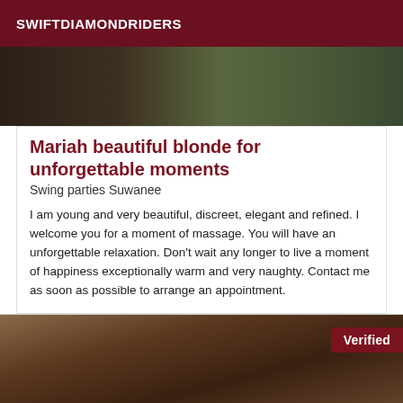SWIFTDIAMONDRIDERS
[Figure (photo): Top partial photo showing dark and green outdoor tones, cropped view]
Mariah beautiful blonde for unforgettable moments
Swing parties Suwanee
I am young and very beautiful, discreet, elegant and refined. I welcome you for a moment of massage. You will have an unforgettable relaxation. Don't wait any longer to live a moment of happiness exceptionally warm and very naughty. Contact me as soon as possible to arrange an appointment.
[Figure (photo): Bottom photo showing a dark-haired woman, partially visible, with a Verified badge in the top right corner]